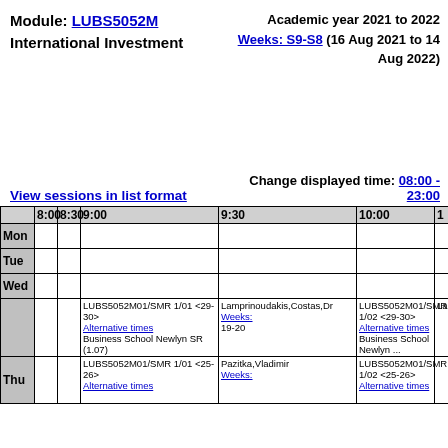Module: LUBS5052M International Investment
Academic year 2021 to 2022 Weeks: S9-S8 (16 Aug 2021 to 14 Aug 2022)
View sessions in list format
Change displayed time: 08:00 - 23:00
|  | 8:00 | 8:30 | 9:00 | 9:30 | 10:00 | 1... |
| --- | --- | --- | --- | --- | --- | --- |
| Mon |  |  |  |  |  |  |
| Tue |  |  |  |  |  |  |
| Wed |  |  |  |  |  |  |
| Thu |  |  | LUBS5052M01/SMR 1/01 <29-30> Alternative times Business School Newlyn SR (1.07) | Lamprinoudakis,Costas,Dr Weeks: 19-20 | LUBS5052M01/SMR 1/02 <29-30> Alternative times Business School Newlyn ... | Lam... |
| Thu |  |  | LUBS5052M01/SMR 1/01 <25-26> | Pazitka,Vladimir Weeks: | LUBS5052M01/SMR 1/02 <25-26> Alternative times |  |